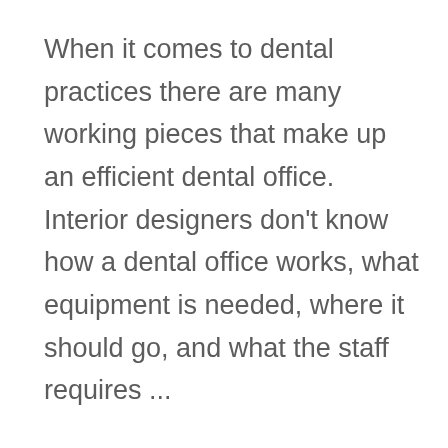When it comes to dental practices there are many working pieces that make up an efficient dental office.  Interior designers don't know how a dental office works, what equipment is needed, where it should go, and what the staff requires ...
We use cookies to optimize our website and our service.
Accept cookies
Deny
Cookie Policy  Privacy Policy